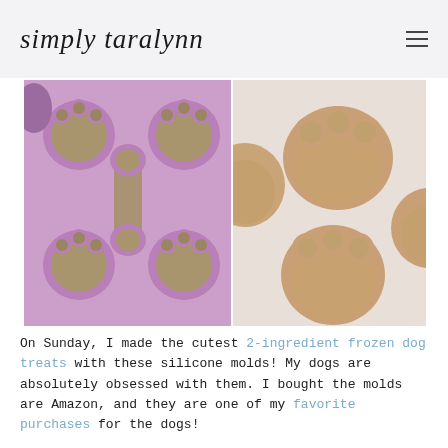simply taralynn
[Figure (photo): Two-panel photo collage: left panel shows a pink silicone mold with dog bone and paw print shapes filled with a green/tan mixture; right panel shows finished golden-tan paw print shaped frozen dog treats on a white surface.]
On Sunday, I made the cutest 2-ingredient frozen dog treats with these silicone molds! My dogs are absolutely obsessed with them. I bought the molds are Amazon, and they are one of my favorite purchases for the dogs!
[Figure (photo): Partial view of a bright interior room with white walls, framed pictures on the wall, and natural light from a window.]